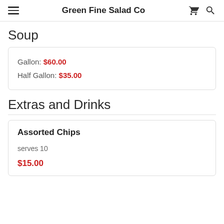Green Fine Salad Co
Soup
| Gallon: | $60.00 |
| Half Gallon: | $35.00 |
Extras and Drinks
Assorted Chips
serves 10
$15.00